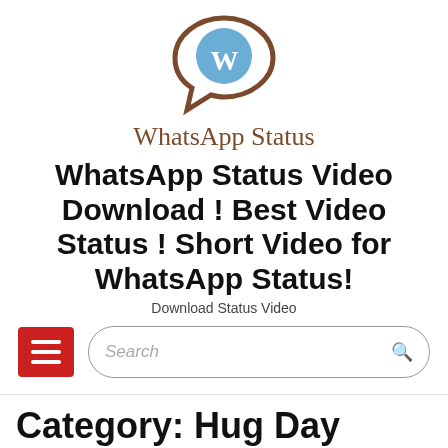[Figure (logo): WhatsApp Status website logo: speech bubble outline in brown with a blue circle containing the letter W]
WhatsApp Status
WhatsApp Status Video Download ! Best Video Status ! Short Video for WhatsApp Status!
Download Status Video
[Figure (screenshot): Navigation bar with red hamburger menu button and a rounded search input field with a search icon]
Category: Hug Day